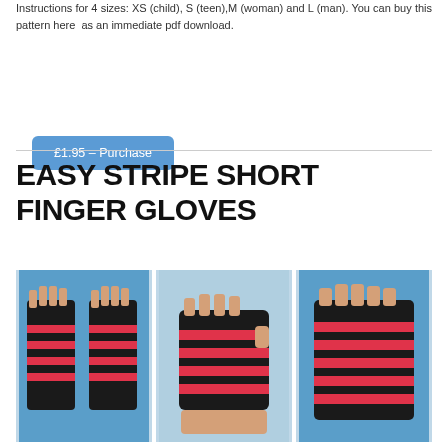Instructions for 4 sizes: XS (child), S (teen),M (woman) and L (man). You can buy this pattern here as an immediate pdf download.
£1.95 – Purchase
EASY STRIPE SHORT FINGER GLOVES
[Figure (photo): Three photos of striped fingerless gloves (black and red/pink stripes) shown from different angles against a blue background.]